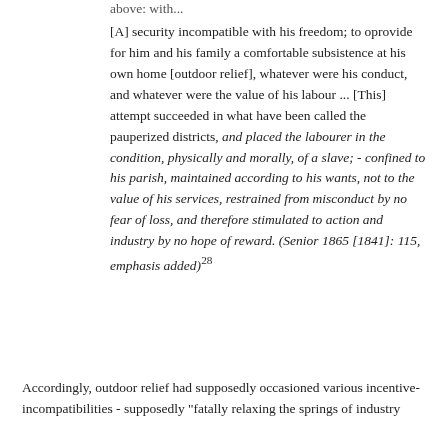above: with...
[A] security incompatible with his freedom; to oprovide for him and his family a comfortable subsistence at his own home [outdoor relief], whatever were his conduct, and whatever were the value of his labour ... [This] attempt succeeded in what have been called the pauperized districts, and placed the labourer in the condition, physically and morally, of a slave; - confined to his parish, maintained according to his wants, not to the value of his services, restrained from misconduct by no fear of loss, and therefore stimulated to action and industry by no hope of reward. (Senior 1865 [1841]: 115, emphasis added)28
Accordingly, outdoor relief had supposedly occasioned various incentive-incompatibilities - supposedly "fatally relaxing the springs of industry